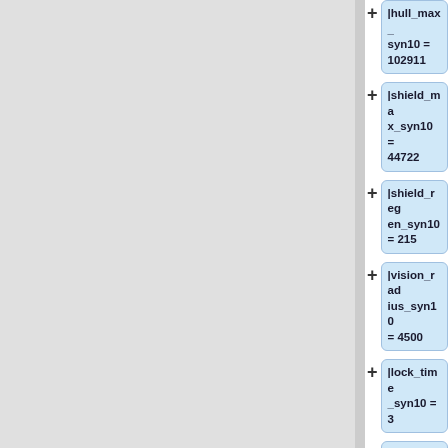|hull_max_syn10 = 102911
|shield_max_syn10 = 44722
|shield_regen_syn10 = 215
|vision_radius_syn10 = 4500
|lock_time_syn10 = 3
<!-- Default bonus block -->
|rot_speed_mul = '''7%'''
|rot_speed